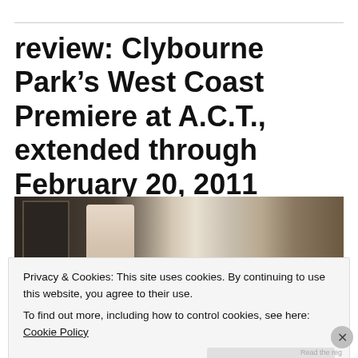review: Clybourne Park's West Coast Premiere at A.C.T., extended through February 20, 2011
[Figure (photo): A theatre production photo showing a woman with blonde curly hair on stage in a period interior set with windows and doorways]
Privacy & Cookies: This site uses cookies. By continuing to use this website, you agree to their use.
To find out more, including how to control cookies, see here: Cookie Policy
Close and accept